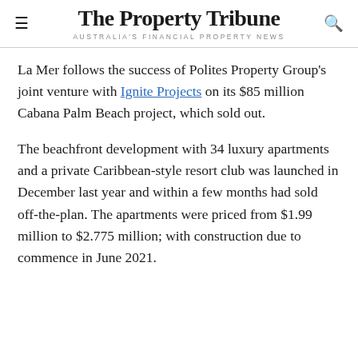The Property Tribune
AUSTRALIA'S FINANCIAL PROPERTY NEWS
La Mer follows the success of Polites Property Group's joint venture with Ignite Projects on its $85 million Cabana Palm Beach project, which sold out.
The beachfront development with 34 luxury apartments and a private Caribbean-style resort club was launched in December last year and within a few months had sold off-the-plan. The apartments were priced from $1.99 million to $2.775 million; with construction due to commence in June 2021.